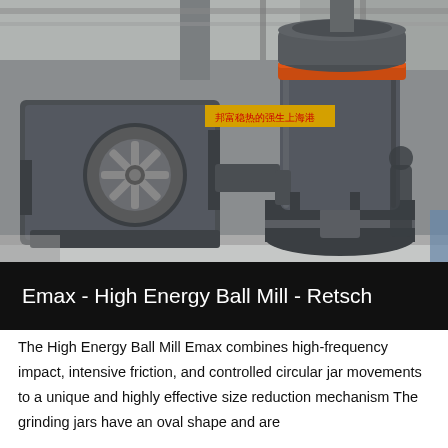[Figure (photo): Industrial machinery photo showing a large gray High Energy Ball Mill (Emax by Retsch) with a blower/fan unit on the left and a cylindrical grinding chamber with orange accent ring on the right, inside an industrial warehouse. A person in the background. Chinese text banner visible. Title bar at bottom reads: Emax - High Energy Ball Mill - Retsch]
The High Energy Ball Mill Emax combines high-frequency impact, intensive friction, and controlled circular jar movements to a unique and highly effective size reduction mechanism The grinding jars have an oval shape and are